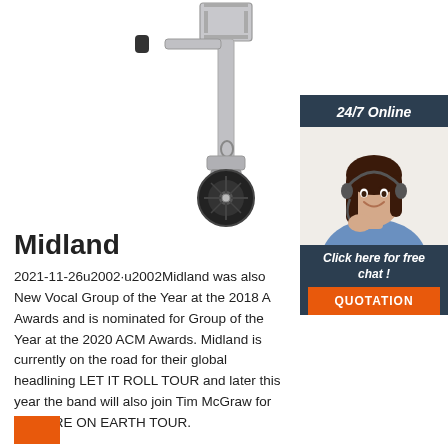[Figure (photo): Product photo of a swivel caster wheel on a metal jack stand assembly, with a folding handle and mounting bracket at top. Silver/gray metallic finish with black rubber wheel.]
[Figure (photo): Sidebar showing a customer service representative woman wearing a headset, smiling, with dark hair and blue shirt. Dark navy background with '24/7 Online' header and 'Click here for free chat!' text and orange QUOTATION button.]
Midland
2021-11-26u2002·u2002Midland was also New Vocal Group of the Year at the 2018 A Awards and is nominated for Group of the Year at the 2020 ACM Awards. Midland is currently on the road for their global headlining LET IT ROLL TOUR and later this year the band will also join Tim McGraw for his HERE ON EARTH TOUR.